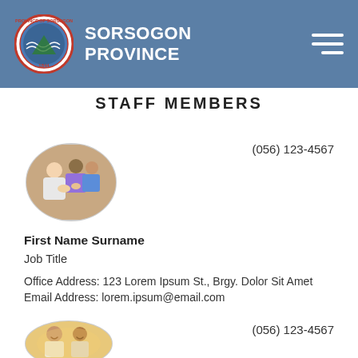SORSOGON PROVINCE
STAFF MEMBERS
(056) 123-4567
[Figure (photo): Circular profile photo of a staff member, showing a man with others in background]
First Name Surname
Job Title
Office Address: 123 Lorem Ipsum St., Brgy. Dolor Sit Amet
Email Address: lorem.ipsum@email.com
(056) 123-4567
[Figure (photo): Circular profile photo of a second staff member, showing an elderly couple smiling]